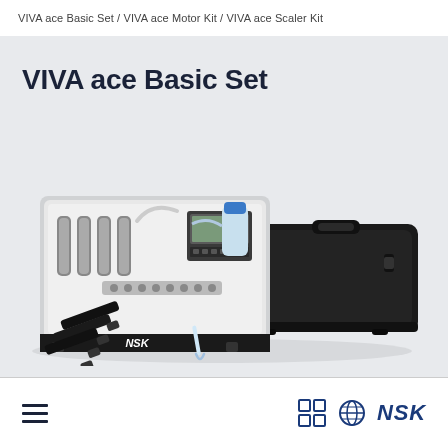VIVA ace Basic Set / VIVA ace Motor Kit / VIVA ace Scaler Kit
VIVA ace Basic Set
[Figure (photo): NSK VIVA ace Basic Set product photo showing an open white equipment case with dental motor unit, accessories and controls (NSK branded), a black hard case lid, a shoulder strap with clips, and a curved dental tip instrument arranged on a light grey background.]
Menu icons and NSK logo with grid and globe icons